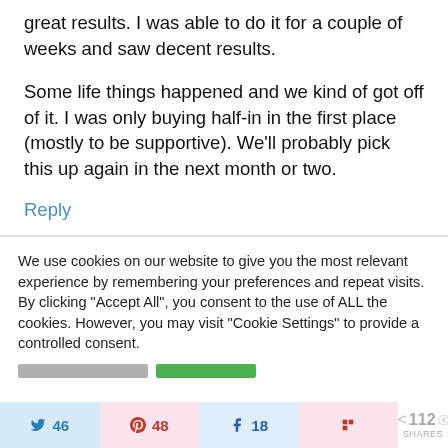great results. I was able to do it for a couple of weeks and saw decent results.

Some life things happened and we kind of got off of it. I was only buying half-in in the first place (mostly to be supportive). We'll probably pick this up again in the next month or two.
Reply
We use cookies on our website to give you the most relevant experience by remembering your preferences and repeat visits. By clicking "Accept All", you consent to the use of ALL the cookies. However, you may visit "Cookie Settings" to provide a controlled consent.
46  48  18  < 112 SHARES